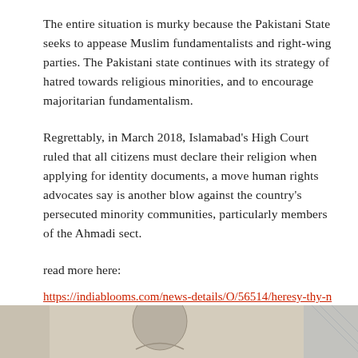The entire situation is murky because the Pakistani State seeks to appease Muslim fundamentalists and right-wing parties. The Pakistani state continues with its strategy of hatred towards religious minorities, and to encourage majoritarian fundamentalism.
Regrettably, in March 2018, Islamabad's High Court ruled that all citizens must declare their religion when applying for identity documents, a move human rights advocates say is another blow against the country's persecuted minority communities, particularly members of the Ahmadi sect.
read more here:
https://indiablooms.com/news-details/O/56514/heresy-thy-name.html
[Figure (photo): Partial view of a photo showing what appears to be a person or figure, cropped at the bottom of the page.]